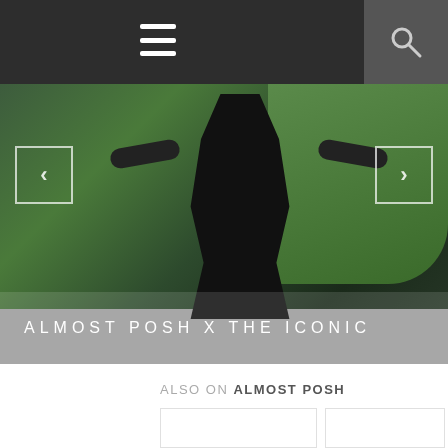[Figure (photo): Slider image showing a person in dark clothing standing outdoors in front of green foliage, with navigation arrows on left and right sides and caption overlay reading 'ALMOST POSH X THE ICONIC']
ALMOST POSH X THE ICONIC
ALSO ON ALMOST POSH
[Figure (photo): Partial view of a card/thumbnail image]
[Figure (photo): Partial view of a second card/thumbnail image]